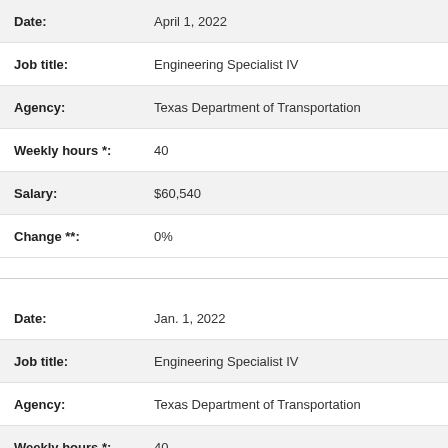| Field | Value |
| --- | --- |
| Date: | April 1, 2022 |
| Job title: | Engineering Specialist IV |
| Agency: | Texas Department of Transportation |
| Weekly hours *: | 40 |
| Salary: | $60,540 |
| Change **: | 0% |
| Field | Value |
| --- | --- |
| Date: | Jan. 1, 2022 |
| Job title: | Engineering Specialist IV |
| Agency: | Texas Department of Transportation |
| Weekly hours *: | 40 |
| Salary: | $60,540 |